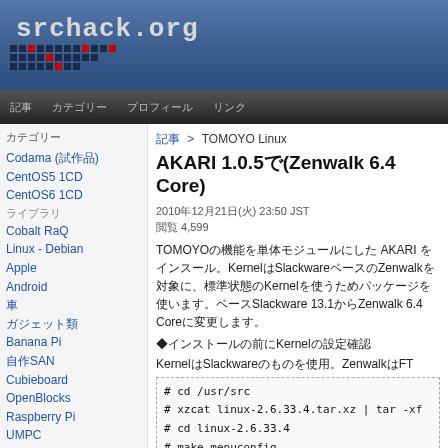srchack.org
nav bar with menu items
カテゴリー
Codama (試作品)
CentOS5 1CD
CentOS6 1CD
ライブラリ
Cobalt RaQ
Linux - Debian
Apple
Android
車
ガジェット類
Banana Pi
自作SAN
Cubieboard
OpenBlocks
Raspberry Pi
UMPC
Linux - Gentoo
Linux - RedHat
Linux - openSuSE
Linux - Slackware
記事 > TOMOYO Linux
AKARI 1.0.5で(Zenwalk 6.4 Core)
2010年12月21日(火) 23:50 JST
閲覧 4,599
TOMOYOの機能を単体モジュールにした AKARI をインスール。KernelはSlackwareベースのZenwalkを対象に、標準状態のKernelを使うためパッケージを使います。ベースSlackware 13.1からZenwalk 6.4 Coreに変更します。
◆インストールの前にKernelの設定確認
KernelはSlackwareのものを使用。ZenwalkはFT
# cd /usr/src
# xzcat linux-2.6.33.4.tar.xz | tar -xf
# cd linux-2.6.33.4
# make menuconfig
ZenwalkのConfigからAKARIをインストールするために2つ変更
CONFIG_KALLSYMS=y
CONFIG_IKCONFIG=y